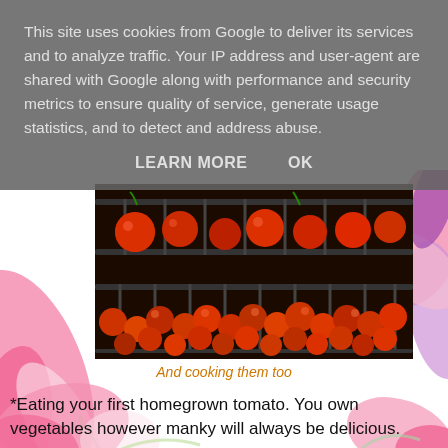This site uses cookies from Google to deliver its services and to analyze traffic. Your IP address and user-agent are shared with Google along with performance and security metrics to ensure quality of service, generate usage statistics, and to detect and address abuse.
LEARN MORE    OK
[Figure (photo): Photo of tomatoes on oven racks being roasted — two racks with cherry and larger tomatoes in a dark oven]
And cooking them too
*Eating your first homegrown tomato. You own vegetables however manky will always be delicious.
*The feel of fresh air and solitary reflection.
*The creation of a new or changed garden in your